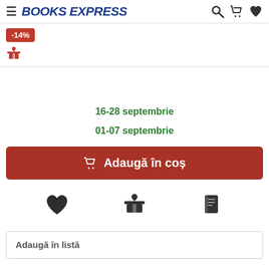BOOKS EXPRESS
-14%
16-28 septembrie
01-07 septembrie
Adaugă în coș
Adaugă în listă